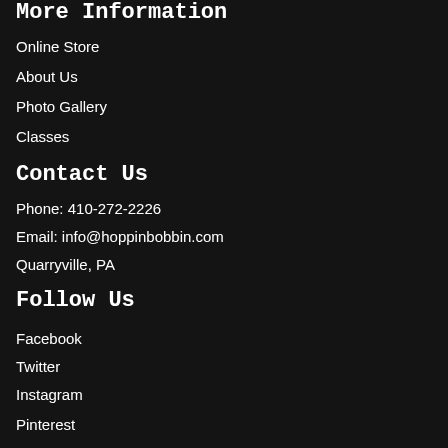More Information
Online Store
About Us
Photo Gallery
Classes
Contact Us
Phone: 410-272-2226
Email: info@hoppinbobbin.com
Quarryville, PA
Follow Us
Facebook
Twitter
Instagram
Pinterest